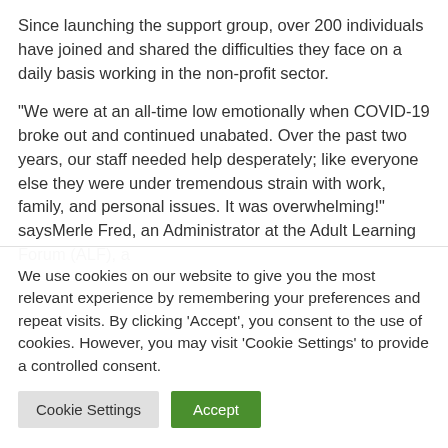Since launching the support group, over 200 individuals have joined and shared the difficulties they face on a daily basis working in the non-profit sector.
“We were at an all-time low emotionally when COVID-19 broke out and continued unabated. Over the past two years, our staff needed help desperately; like everyone else they were under tremendous strain with work, family, and personal issues. It was overwhelming!” saysMerle Fred, an Administrator at the Adult Learning Forum (ALF), a
We use cookies on our website to give you the most relevant experience by remembering your preferences and repeat visits. By clicking ‘Accept’, you consent to the use of cookies. However, you may visit ‘Cookie Settings’ to provide a controlled consent.
Cookie Settings | Accept